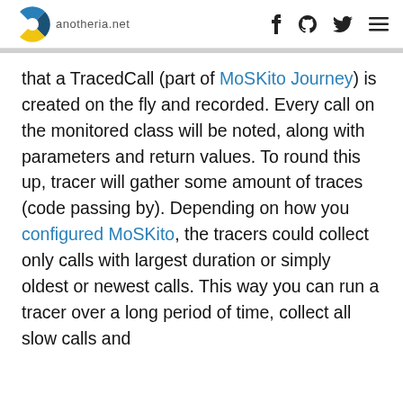anotheria.net
that a TracedCall (part of MoSKito Journey) is created on the fly and recorded. Every call on the monitored class will be noted, along with parameters and return values. To round this up, tracer will gather some amount of traces (code passing by). Depending on how you configured MoSKito, the tracers could collect only calls with largest duration or simply oldest or newest calls. This way you can run a tracer over a long period of time, collect all slow calls and